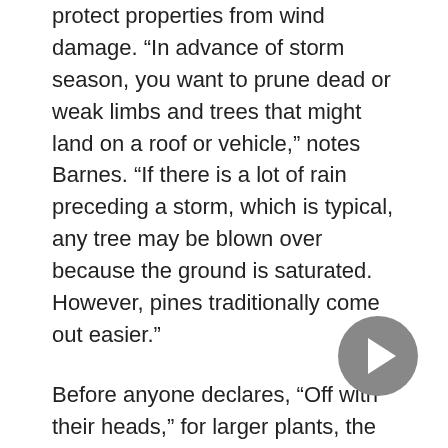protect properties from wind damage. “In advance of storm season, you want to prune dead or weak limbs and trees that might land on a roof or vehicle,” notes Barnes. “If there is a lot of rain preceding a storm, which is typical, any tree may be blown over because the ground is saturated. However, pines traditionally come out easier.”
Before anyone declares, “Off with their heads,” for larger plants, the value of shade should be remembered. “Shade trees can reduce air conditioning costs by up to 20 percent,” reports Barnes. “The trees should be planted where the building receives the most sun. Some communities use palm islands with two or three trees, and some may use willows, which provide a nice amount of cover. Trees definitely cool a building, but you have to keep the root structure in mind so they don’t get into the